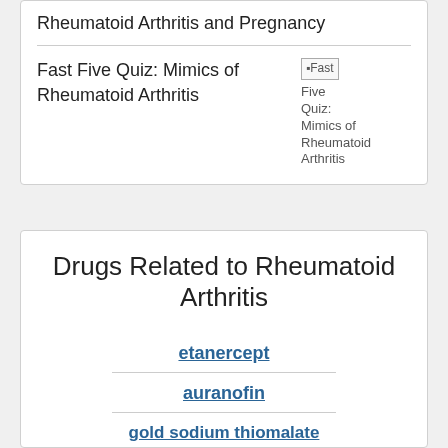Rheumatoid Arthritis and Pregnancy
Fast Five Quiz: Mimics of Rheumatoid Arthritis
[Figure (photo): Broken image placeholder for Fast Five Quiz: Mimics of Rheumatoid Arthritis]
Drugs Related to Rheumatoid Arthritis
etanercept
auranofin
gold sodium thiomalate
filgotinib